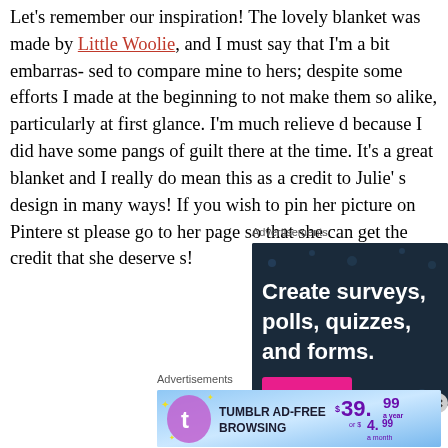Let's remember our inspiration! The lovely blanket was made by Little Woolie, and I must say that I'm a bit embarrassed to compare mine to hers; despite some efforts I made at the beginning to not make them so alike, particularly at first glance. I'm much relieved now though because I did have some pangs of guilt there at the time. It's a great blanket and I really do mean this as a credit to Julie's design in many ways! If you wish to pin her picture on Pinterest please go to her page so that she can get the credit that she deserves!
Advertisements
[Figure (screenshot): Dark navy advertisement banner reading 'Create surveys, polls, quizzes, and forms.' with a pink button at the bottom]
Advertisements
[Figure (screenshot): Tumblr Ad-Free Browsing advertisement banner showing $39.99 a year or $4.99 a month pricing on a blue gradient background with Tumblr logo]